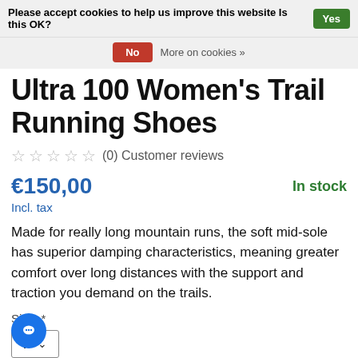Please accept cookies to help us improve this website Is this OK? Yes No More on cookies »
Ultra 100 Women's Trail Running Shoes
☆ ☆ ☆ ☆ ☆ (0) Customer reviews
€150,00   In stock
Incl. tax
Made for really long mountain runs, the soft mid-sole has superior damping characteristics, meaning greater comfort over long distances with the support and traction you demand on the trails.
Size: *
7
Colour: *